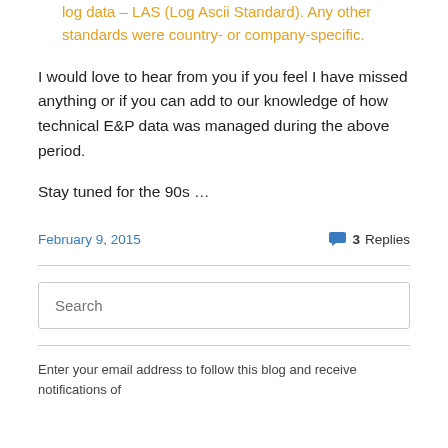log data – LAS (Log Ascii Standard). Any other standards were country- or company-specific.
I would love to hear from you if you feel I have missed anything or if you can add to our knowledge of how technical E&P data was managed during the above period.
Stay tuned for the 90s …
February 9, 2015
3 Replies
Search
Enter your email address to follow this blog and receive notifications of